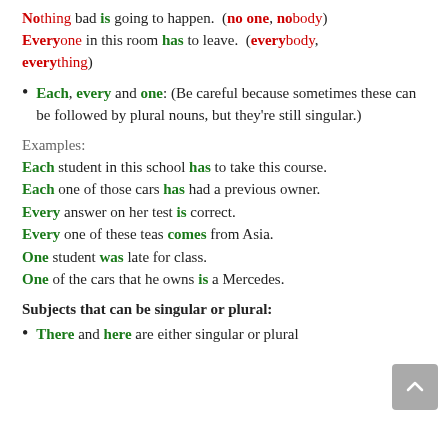Nothing bad is going to happen. (no one, nobody) Everyone in this room has to leave. (everybody, everything)
Each, every and one: (Be careful because sometimes these can be followed by plural nouns, but they're still singular.)
Examples:
Each student in this school has to take this course.
Each one of those cars has had a previous owner.
Every answer on her test is correct.
Every one of these teas comes from Asia.
One student was late for class.
One of the cars that he owns is a Mercedes.
Subjects that can be singular or plural:
There and here are either singular or plural